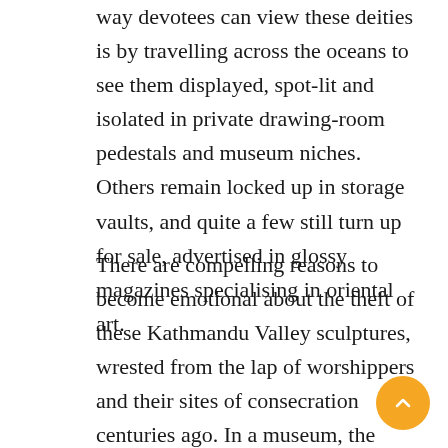way devotees can view these deities is by travelling across the oceans to see them displayed, spot-lit and isolated in private drawing-room pedestals and museum niches. Others remain locked up in storage vaults, and quite a few still turn up for sale, advertised in glossy magazines specialising in oriental art.
There are compelling reasons to become emotional about the theft of these Kathmandu Valley sculptures, wrested from the lap of worshippers and their sites of consecration centuries ago. In a museum, the statue stands polished and alone, its surface cleaned of worshippers' grime of decades. An object of worship becomes an object of art. Says Chandra Prasad Tripathy, a specialist at the